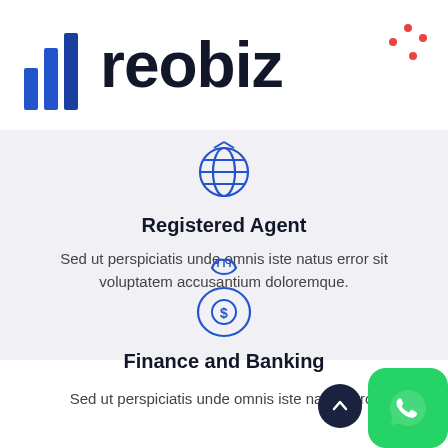[Figure (logo): reobiz logo with bar chart icon and decorative dots]
[Figure (illustration): Circular icon with globe/compass design representing Registered Agent]
Registered Agent
Sed ut perspiciatis unde omnis iste natus error sit voluptatem accusantium doloremque.
[Figure (illustration): Money bag icon with dollar sign representing Finance and Banking]
Finance and Banking
Sed ut perspiciatis unde omnis iste natus error